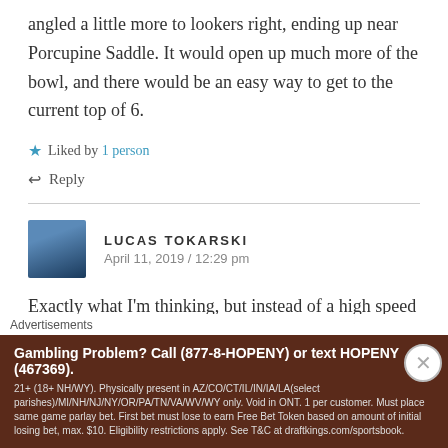angled a little more to lookers right, ending up near Porcupine Saddle. It would open up much more of the bowl, and there would be an easy way to get to the current top of 6.
★ Liked by 1 person
↩ Reply
LUCAS TOKARSKI
April 11, 2019 / 12:29 pm
Exactly what I'm thinking, but instead of a high speed quad for lift 2, the could do a high speed 6 as the lift would be a major people mover out of the base. The only
Advertisements
Gambling Problem? Call (877-8-HOPENY) or text HOPENY (467369). 21+ (18+ NH/WY). Physically present in AZ/CO/CT/IL/IN/IA/LA(select parishes)/MI/NH/NJ/NY/OR/PA/TN/VA/WV/WY only. Void in ONT. 1 per customer. Must place same game parlay bet. First bet must lose to earn Free Bet Token based on amount of initial losing bet, max. $10. Eligibility restrictions apply. See T&C at draftkings.com/sportsbook.